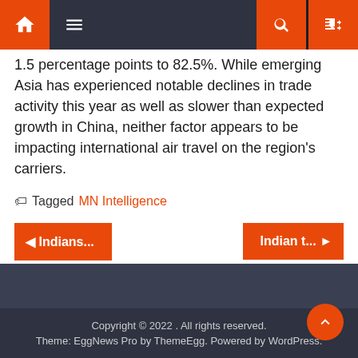Navigation bar with home, menu, search, and random icons
1.5 percentage points to 82.5%. While emerging Asia has experienced notable declines in trade activity this year as well as slower than expected growth in China, neither factor appears to be impacting international air travel on the region's carriers.
Tagged MN Intelligence
◄ Indians...
Indian t... ►
Copyright © 2022 . All rights reserved. Theme: EggNews Pro by ThemeEgg. Powered by WordPress.